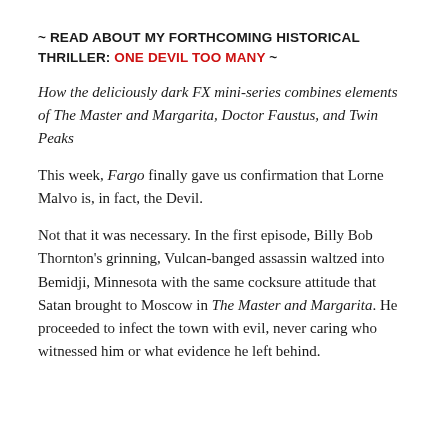~ READ ABOUT MY FORTHCOMING HISTORICAL THRILLER: ONE DEVIL TOO MANY ~
How the deliciously dark FX mini-series combines elements of The Master and Margarita, Doctor Faustus, and Twin Peaks
This week, Fargo finally gave us confirmation that Lorne Malvo is, in fact, the Devil.
Not that it was necessary. In the first episode, Billy Bob Thornton's grinning, Vulcan-banged assassin waltzed into Bemidji, Minnesota with the same cocksure attitude that Satan brought to Moscow in The Master and Margarita. He proceeded to infect the town with evil, never caring who witnessed him or what evidence he left behind.